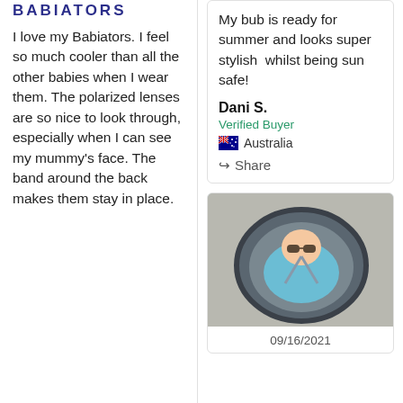BABIATORS
I love my Babiators. I feel so much cooler than all the other babies when I wear them. The polarized lenses are so nice to look through, especially when I can see my mummy's face. The band around the back makes them stay in place.
My bub is ready for summer and looks super stylish  whilst being sun safe!
Dani S.
Verified Buyer
Australia
Share
[Figure (photo): A baby lying in a stroller/pram wearing blue clothing and sunglasses, viewed from above]
09/16/2021